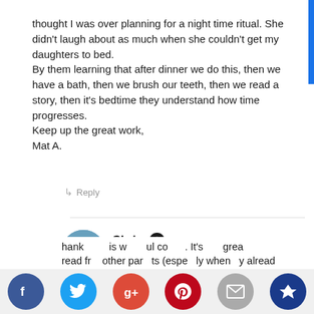thought I was over planning for a night time ritual. She didn't laugh about as much when she couldn't get my daughters to bed.
By them learning that after dinner we do this, then we have a bath, then we brush our teeth, then we read a story, then it's bedtime they understand how time progresses.
Keep up the great work,
Mat A.
↳ Reply
[Figure (photo): Avatar photo of Chris, a person in a blue shirt and red hat bending over at a beach]
Chris ★
JULY 22, 2018 AT 8:54 AM
Hey Mat,
Thank you for this wonderful comment. It's great to read from other parents (especially when they already...
[Figure (infographic): Social share buttons bar: Facebook (blue), Twitter (light blue), Google+ (red), Pinterest (dark red), Email (gray), Crown (dark blue)]